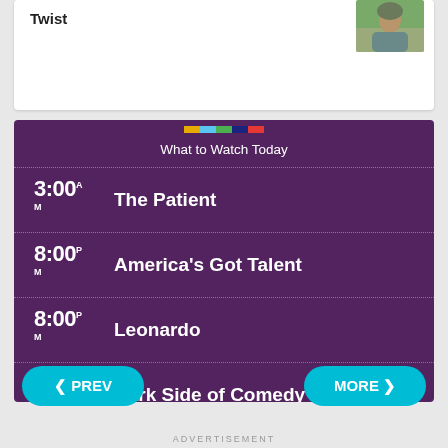Twist
[Figure (photo): Headshot photo of a person outdoors]
What to Watch Today
3:00 AM  The Patient
8:00 PM  America's Got Talent
8:00 PM  Leonardo
9:00 PM  Dark Side of Comedy
Full Story
< PREV
MORE >
ADVERTISEMENT